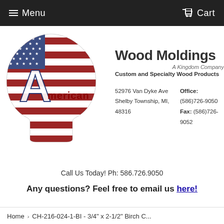Menu   Cart
[Figure (logo): American Wood Moldings logo: a tree silhouette filled with an American flag pattern, with a large letter A and the text 'american' overlaid. To the right: 'Wood Moldings', 'A Kingdom Company', 'Custom and Specialty Wood Products', address '52976 Van Dyke Ave, Shelby Township, MI, 48316', 'Office: (586)726-9050', 'Fax: (586)726-9052']
Call Us Today! Ph: 586.726.9050
Any questions? Feel free to email us here!
Home › CH-216-024-1-BI - 3/4" x 2-1/2" Birch C...